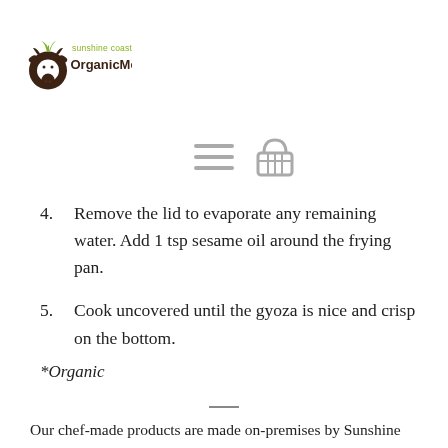[Figure (logo): Sunshine Coast Organic Meats logo with brown cow icon and green/brown text]
[Figure (other): Navigation icons: hamburger menu and shopping basket]
4. Remove the lid to evaporate any remaining water. Add 1 tsp sesame oil around the frying pan.
5. Cook uncovered until the gyoza is nice and crisp on the bottom.
*Organic
Our chef-made products are made on-premises by Sunshine Coast Organic Meats and...